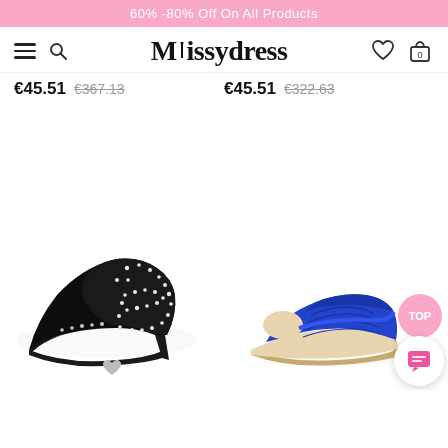60% -80% Off On All Products
[Figure (logo): Missydress logo with hamburger menu, search icon, heart and cart icons]
€45.51  €367.13  €45.51  €322.63
[Figure (photo): Black stiletto high heel pump with rhinestone embellishments]
[Figure (photo): Royal blue satin peep-toe kitten heel pump]